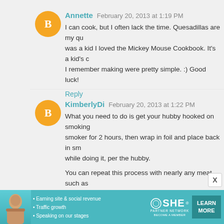Annette  February 20, 2013 at 1:19 PM
I can cook, but I often lack the time. Quesadillas are my qu... was a kid I loved the Mickey Mouse Cookbook. It's a kid's c... I remember making were pretty simple. :) Good luck!
Reply
KimberlyDi  February 20, 2013 at 1:22 PM
What you need to do is get your hubby hooked on smoking... smoker for 2 hours, then wrap in foil and place back in sm... while doing it, per the hubby.

You can repeat this process with nearly any meat, such as... it.  Spinach leaves, tomatoes and salad dressing with bits o... alfredo sauce plus pasta is fantastic.  Chicken salad sandwi... to smoke some meat on the weekend and use it in different...

Before I got adventurous at cooking, I used to buy boxed... already contained green peppers, I would add some fresh g... sausage slices, etc.  It was easy.
Reply
[Figure (infographic): SHE Partner Network advertisement banner with woman photo, bullet points about earning site & social revenue, traffic growth, speaking on our stages, SHE logo, LEARN MORE button]